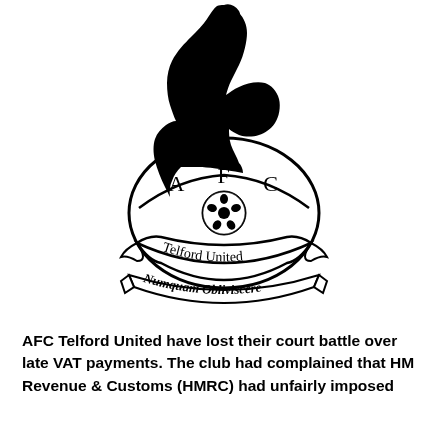[Figure (logo): AFC Telford United football club crest: a stylized black greyhound/dog silhouette above a circular badge with letters A, F, C and a football, with a ribbon scroll reading 'Telford United' and a banner below reading 'Numquam Obliviscere']
AFC Telford United have lost their court battle over late VAT payments. The club had complained that HM Revenue & Customs (HMRC) had unfairly imposed